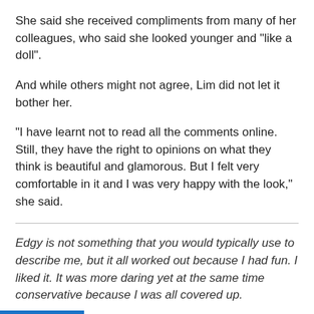She said she received compliments from many of her colleagues, who said she looked younger and "like a doll".
And while others might not agree, Lim did not let it bother her.
"I have learnt not to read all the comments online. Still, they have the right to opinions on what they think is beautiful and glamorous. But I felt very comfortable in it and I was very happy with the look," she said.
Edgy is not something that you would typically use to describe me, but it all worked out because I had fun. I liked it. It was more daring yet at the same time conservative because I was all covered up.